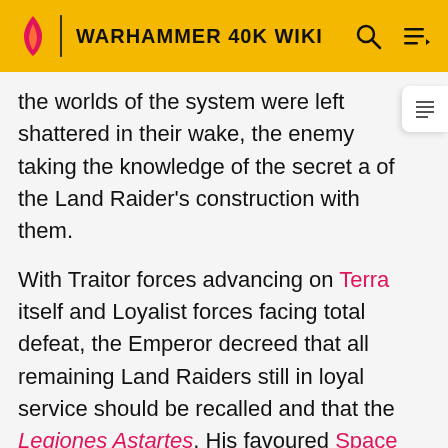WARHAMMER 40K WIKI
the worlds of the system were left shattered in their wake, the enemy taking the knowledge of the secret arts of the Land Raider's construction with them.
With Traitor forces advancing on Terra itself and Loyalist forces facing total defeat, the Emperor decreed that all remaining Land Raiders still in loyal service should be recalled and that the Legiones Astartes, His favoured Space Marines, who stood at the forefront of Terra's defence, be given exclusive use of these powerful war machines. The Imperium was saved during the Battle of Terra when the Emperor defeated Horus in single combat but, terribly wounded, He was interred within the Golden Throne, never to speak again.